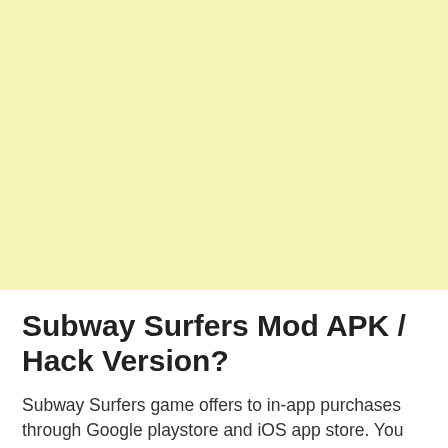[Figure (other): Yellow/cream colored advertisement banner placeholder block]
Subway Surfers Mod APK / Hack Version?
Subway Surfers game offers to in-app purchases through Google playstore and iOS app store. You can buy new upgrades and characters for real money. Go